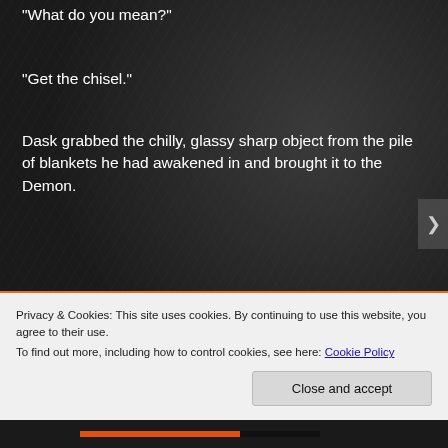“What do you mean?”
“Get the chisel.”
Dask grabbed the chilly, glassy sharp object from the pile of blankets he had awakened in and brought it to the Demon.
“Why have you not been using this?”
“I didn’t think about it.”
“That’s a physical form taken by the power of your
Privacy & Cookies: This site uses cookies. By continuing to use this website, you agree to their use.
To find out more, including how to control cookies, see here: Cookie Policy
Close and accept